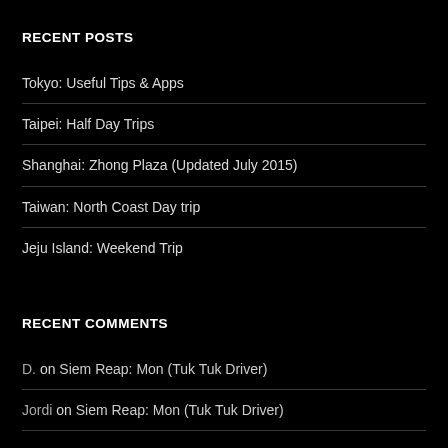RECENT POSTS
Tokyo: Useful Tips & Apps
Taipei: Half Day Trips
Shanghai: Zhong Plaza (Updated July 2015)
Taiwan: North Coast Day trip
Jeju Island: Weekend Trip
RECENT COMMENTS
D. on Siem Reap: Mon (Tuk Tuk Driver)
Jordi on Siem Reap: Mon (Tuk Tuk Driver)